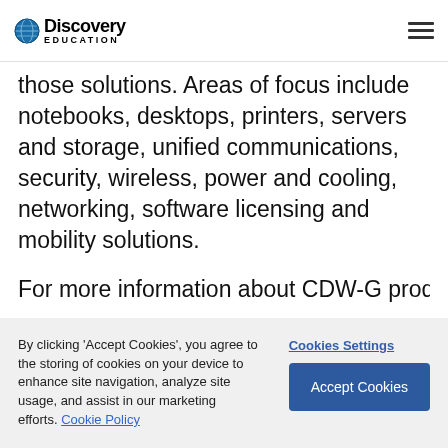Discovery Education
those solutions. Areas of focus include notebooks, desktops, printers, servers and storage, unified communications, security, wireless, power and cooling, networking, software licensing and mobility solutions.
For more information about CDW-G product
By clicking 'Accept Cookies', you agree to the storing of cookies on your device to enhance site navigation, analyze site usage, and assist in our marketing efforts. Cookie Policy
Cookies Settings
Accept Cookies